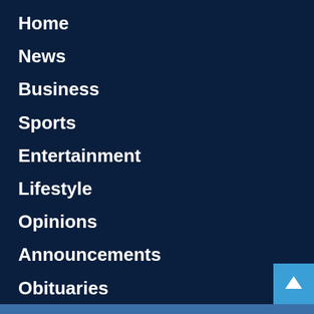Home
News
Business
Sports
Entertainment
Lifestyle
Opinions
Announcements
Obituaries
Podcast
Live Radio
[Figure (illustration): Back to top arrow button, light blue square with white upward arrow]